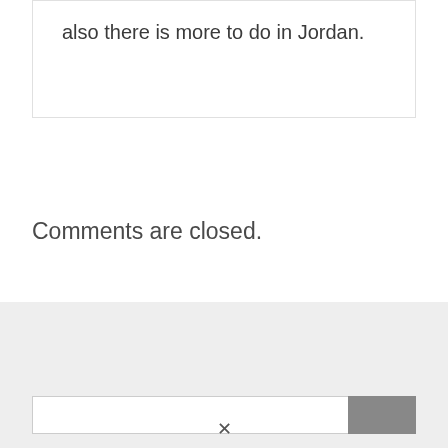also there is more to do in Jordan.
Comments are closed.
[Figure (other): Grey background block representing a widget or sidebar area]
[Figure (screenshot): Search bar with text input field and dark grey search button]